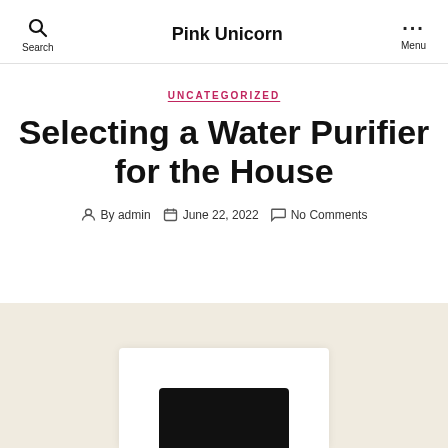Pink Unicorn | Search | Menu
UNCATEGORIZED
Selecting a Water Purifier for the House
By admin  June 22, 2022  No Comments
[Figure (photo): Water purifier product image on a beige/cream background]